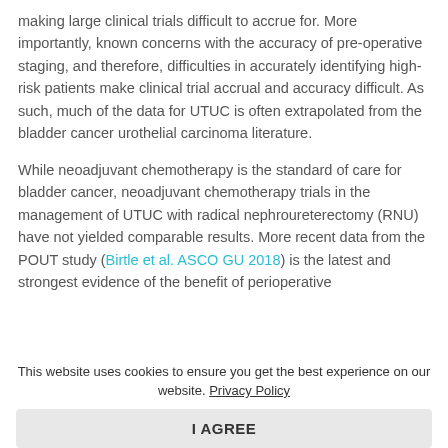making large clinical trials difficult to accrue for. More importantly, known concerns with the accuracy of pre-operative staging, and therefore, difficulties in accurately identifying high-risk patients make clinical trial accrual and accuracy difficult. As such, much of the data for UTUC is often extrapolated from the bladder cancer urothelial carcinoma literature.
While neoadjuvant chemotherapy is the standard of care for bladder cancer, neoadjuvant chemotherapy trials in the management of UTUC with radical nephroureterectomy (RNU) have not yielded comparable results. More recent data from the POUT study (Birtle et al. ASCO GU 2018) is the latest and strongest evidence of the benefit of perioperative
This website uses cookies to ensure you get the best experience on our website. Privacy Policy
I AGREE